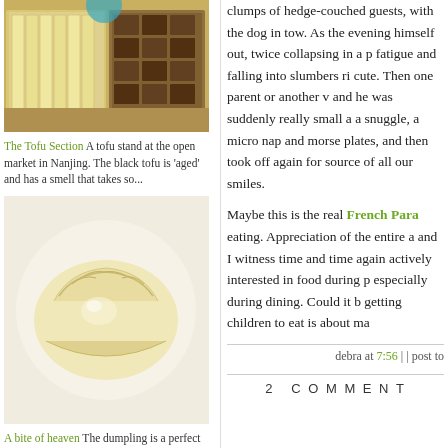[Figure (photo): A tofu stand at the open market in Nanjing showing various tofu products in trays]
The Tofu Section A tofu stand at the open market in Nanjing. The black tofu is 'aged' and has a smell that takes so...
[Figure (photo): Close-up of a single dumpling on a light background]
A bite of heaven The dumpling is a perfect food. This one is from a shop on the HuaHaiLu in Nanjing.
[Figure (photo): White noodles or shredded food item]
clumps of hedge-couched guests, with the dog in tow. As the evening himself out, twice collapsing in p fatigue and falling into slumbers ri cute. Then one parent or another v and he was suddenly really small a a snuggle, a micro nap and morse plates, and then took off again for source of all our smiles.
Maybe this is the real French Para eating. Appreciation of the entire a and I witness time and time again actively interested in food during p especially during dining. Could it b getting children to eat is about ma
debra at 7:56 | | post to
2 COMMENT